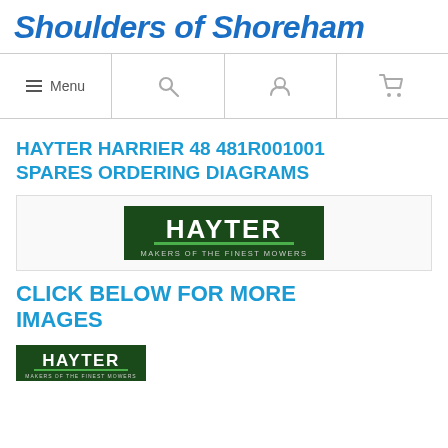Shoulders of Shoreham
[Figure (screenshot): Navigation bar with hamburger menu (Menu), search icon, user icon, and shopping cart icon]
HAYTER HARRIER 48 481R001001 SPARES ORDERING DIAGRAMS
[Figure (logo): Hayter logo - Makers of the Finest Mowers - dark green background]
CLICK BELOW FOR MORE IMAGES
[Figure (logo): Hayter logo small - Makers of the Finest Mowers - dark green background]